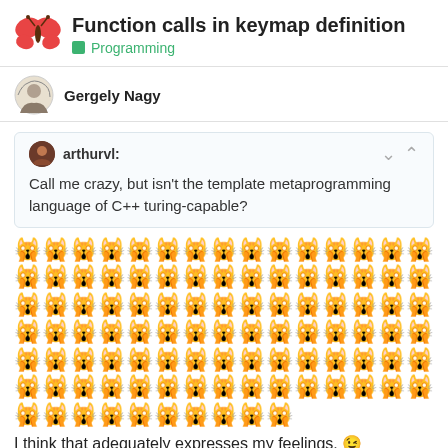Function calls in keymap definition
Programming
Gergely Nagy
arthurvl:
Call me crazy, but isn't the template metaprogramming language of C++ turing-capable?
[Figure (other): Large block of repeated 'face screaming in fear' emoji (🙀) filling approximately 5 rows]
I think that adequately expresses my feelings. 😉
3
merlin
18 / 32